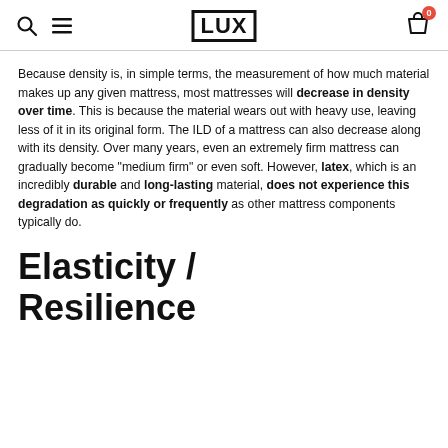LUX
Because density is, in simple terms, the measurement of how much material makes up any given mattress, most mattresses will decrease in density over time. This is because the material wears out with heavy use, leaving less of it in its original form. The ILD of a mattress can also decrease along with its density. Over many years, even an extremely firm mattress can gradually become "medium firm" or even soft. However, latex, which is an incredibly durable and long-lasting material, does not experience this degradation as quickly or frequently as other mattress components typically do.
Elasticity / Resilience